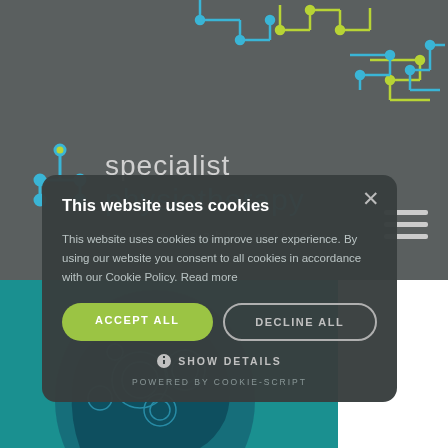[Figure (screenshot): Specialist Physiotherapy website header with circuit board decorative pattern in blue and yellow-green on grey background, logo with icon and text 'specialist physiotherapy', tagline 'move • enable • live', hamburger menu icon, and teal section below with decorative head illustration]
This website uses cookies
This website uses cookies to improve user experience. By using our website you consent to all cookies in accordance with our Cookie Policy. Read more
ACCEPT ALL
DECLINE ALL
SHOW DETAILS
POWERED BY COOKIE-SCRIPT